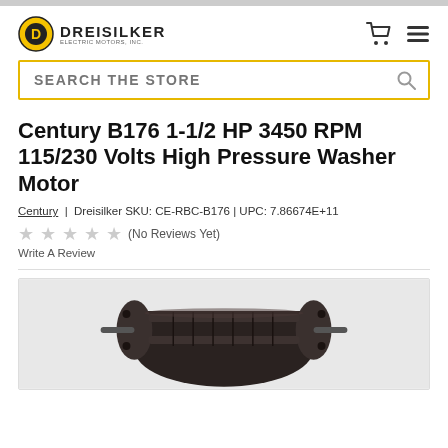Dreisilker Electric Motors, Inc.
SEARCH THE STORE
Century B176 1-1/2 HP 3450 RPM 115/230 Volts High Pressure Washer Motor
Century | Dreisilker SKU: CE-RBC-B176 | UPC: 7.86674E+11
(No Reviews Yet)
Write A Review
[Figure (photo): Product photo of Century B176 electric motor for high pressure washer, dark brown/black color, cylindrical shape with cooling fins, shown from a three-quarter angle]